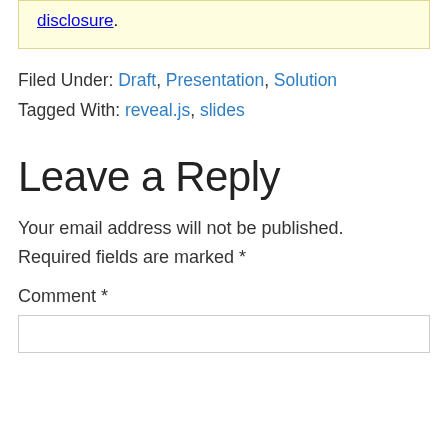disclosure.
Filed Under: Draft, Presentation, Solution
Tagged With: reveal.js, slides
Leave a Reply
Your email address will not be published. Required fields are marked *
Comment *